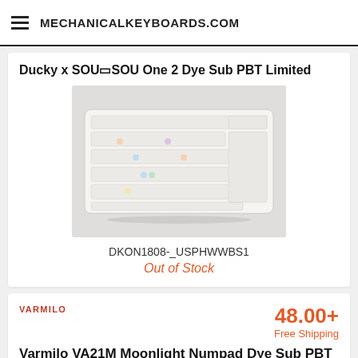MECHANICALKEYBOARDS.COM
Ducky x SOU▯SOU One 2 Dye Sub PBT Limited
[Figure (photo): White mechanical keyboard with colorful Japanese character keycaps on a light gray background, shot from a slight angle above]
DKON1808-_USPHWWBS1
Out of Stock
VARMILO
48.00+
Free Shipping
Varmilo VA21M Moonlight Numpad Dye Sub PBT